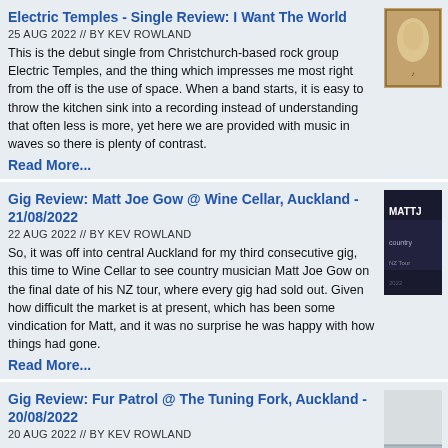Electric Temples - Single Review: I Want The World
25 AUG 2022 // BY KEV ROWLAND
This is the debut single from Christchurch-based rock group Electric Temples, and the thing which impresses me most right from the off is the use of space. When a band starts, it is easy to throw the kitchen sink into a recording instead of understanding that often less is more, yet here we are provided with music in waves so there is plenty of contrast.
Read More...
Gig Review: Matt Joe Gow @ Wine Cellar, Auckland - 21/08/2022
22 AUG 2022 // BY KEV ROWLAND
So, it was off into central Auckland for my third consecutive gig, this time to Wine Cellar to see country musician Matt Joe Gow on the final date of his NZ tour, where every gig had sold out. Given how difficult the market is at present, which has been some vindication for Matt, and it was no surprise he was happy with how things had gone.
Read More...
Gig Review: Fur Patrol @ The Tuning Fork, Auckland - 20/08/2022
20 AUG 2022 // BY KEV ROWLAND
This was the first time I had heard anything from support act Wellington-based Soft Plastics, who comprise Sophie Scott-Maunder (vocals/bass), Jonathan Shirley (guitar) and Laura Robinson (drums), but I had heard good things and right from the off I could see I was not going to be disappointed. They started with Day Job, and right from the distorted jangly guitar chord opening, the audience responded made their way from the bar to the front.
Read More...
Gig Review: Troy Kingi @ Auckland Town Hall - 19/08/2022
20 AUG 2022 // BY KEV ROWLAND